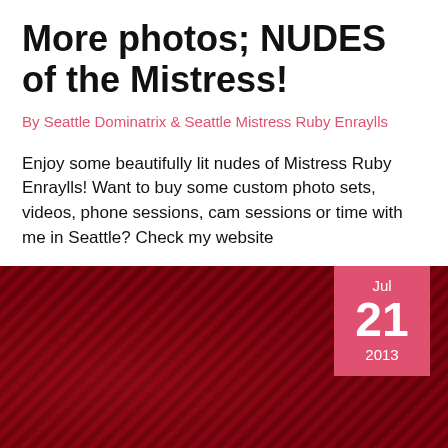More photos; NUDES of the Mistress!
By Seattle Dominatrix & Seattle Mistress Ruby Enraylls
Enjoy some beautifully lit nudes of Mistress Ruby Enraylls! Want to buy some custom photo sets, videos, phone sessions, cam sessions or time with me in Seattle? Check my website
[Figure (photo): Dark crimson decorative band divider with date badge showing Jul 21 2013]
Lesbian Femdom Erotica, Part One
By Seattle Dominatrix & Seattle Mistress Ruby Enraylls